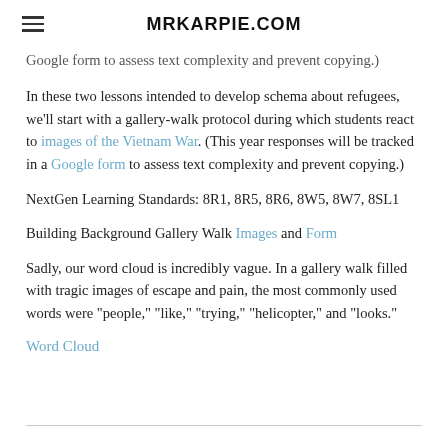MRKARPIE.COM
Google form to assess text complexity and prevent copying.)
In these two lessons intended to develop schema about refugees, we'll start with a gallery-walk protocol during which students react to images of the Vietnam War. (This year responses will be tracked in a Google form to assess text complexity and prevent copying.)
NextGen Learning Standards: 8R1, 8R5, 8R6, 8W5, 8W7, 8SL1
Building Background Gallery Walk Images and Form
Sadly, our word cloud is incredibly vague. In a gallery walk filled with tragic images of escape and pain, the most commonly used words were "people," "like," "trying," "helicopter," and "looks."
Word Cloud